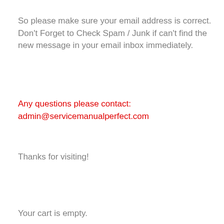So please make sure your email address is correct. Don't Forget to Check Spam / Junk if can't find the new message in your email inbox immediately.
Any questions please contact:
admin@servicemanualperfect.com
Thanks for visiting!
Your cart is empty.